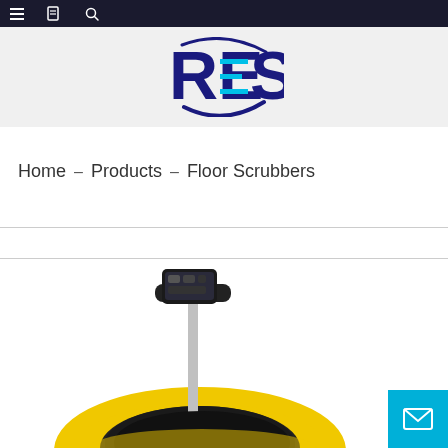Navigation bar with menu, bookmark, and search icons
[Figure (logo): RES company logo — stylized R and S letters with blue swoosh, in dark blue and cyan colors]
Home – Products – Floor Scrubbers
[Figure (photo): Floor scrubber machine — yellow body with black handle/control panel and metal pole, photographed from above-front angle]